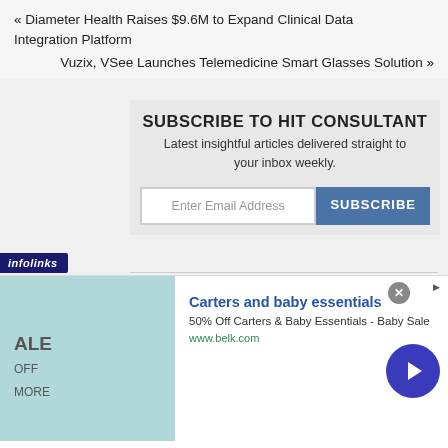« Diameter Health Raises $9.6M to Expand Clinical Data Integration Platform
Vuzix, VSee Launches Telemedicine Smart Glasses Solution »
SUBSCRIBE TO HIT CONSULTANT
Latest insightful articles delivered straight to your inbox weekly.
Enter Email Address
SUBSCRIBE
Search
[Figure (screenshot): infolinks advertisement bar at bottom of page]
[Figure (infographic): Ad banner for Carters and baby essentials from belk.com. Shows 'ALE OFF MORE' text on teal background with baby image. Headline: Carters and baby essentials. Tagline: 50% Off Carters & Baby Essentials - Baby Sale. URL: www.belk.com]